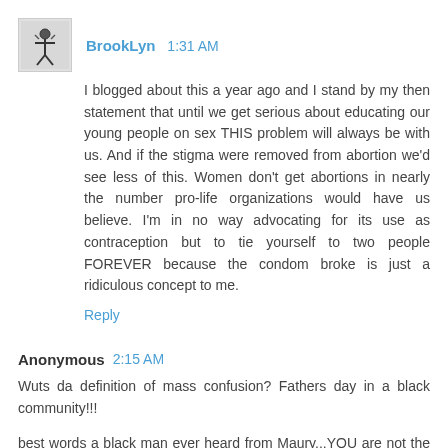[Figure (illustration): Avatar icon of a person figure in black silhouette style]
BrookLyn 1:31 AM
I blogged about this a year ago and I stand by my then statement that until we get serious about educating our young people on sex THIS problem will always be with us. And if the stigma were removed from abortion we'd see less of this. Women don't get abortions in nearly the number pro-life organizations would have us believe. I'm in no way advocating for its use as contraception but to tie yourself to two people FOREVER because the condom broke is just a ridiculous concept to me.
Reply
Anonymous 2:15 AM
Wuts da definition of mass confusion? Fathers day in a black community!!!
best words a black man ever heard from Maury...YOU are not the father of any of these six chillun...